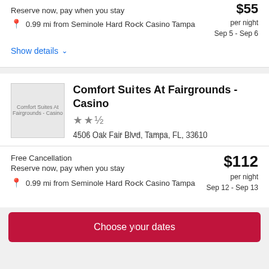Reserve now, pay when you stay
$55 per night
Sep 5 - Sep 6
0.99 mi from Seminole Hard Rock Casino Tampa
Show details
Comfort Suites At Fairgrounds - Casino
★★½
4506 Oak Fair Blvd, Tampa, FL, 33610
Free Cancellation
Reserve now, pay when you stay
$112 per night
Sep 12 - Sep 13
0.99 mi from Seminole Hard Rock Casino Tampa
Choose your dates